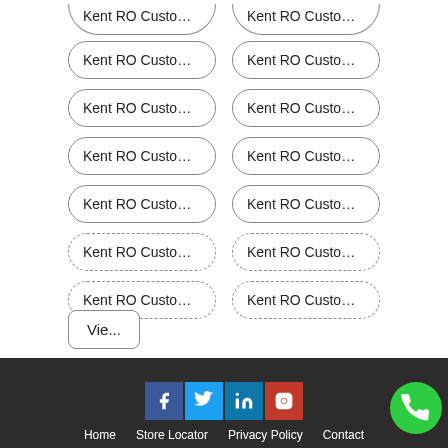Kent RO Customer ...
Kent RO Customer ...
Kent RO Customer ...
Kent RO Customer ...
Kent RO Customer ...
Kent RO Customer ...
Kent RO Customer ...
Kent RO Customer ...
Kent RO Customer ...
Kent RO Customer ...
Kent RO Customer ...
Kent RO Customer ...
Kent RO Customer ...
Kent RO Customer ...
Vie...
Home   Store Locator   Privacy Policy   Contact